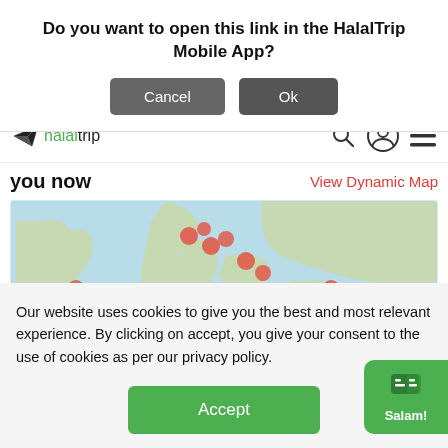Do you want to open this link in the HalalTrip Mobile App?
Cancel
Ok
[Figure (logo): HalalTrip logo with paper plane icon]
you now
View Dynamic Map
[Figure (map): World map showing various location pins clustered in Europe, Middle East, and other regions]
Our website uses cookies to give you the best and most relevant experience. By clicking on accept, you give your consent to the use of cookies as per our privacy policy.
Accept
Salam!